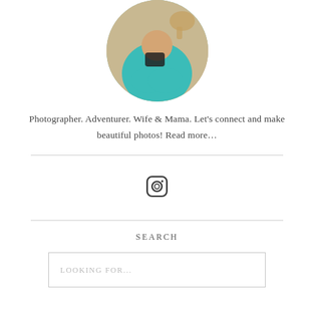[Figure (photo): Circular cropped profile photo of a person in a teal/turquoise jacket holding a camera, with a dog visible in the background.]
Photographer. Adventurer. Wife & Mama. Let's connect and make beautiful photos! Read more…
[Figure (logo): Instagram icon (camera symbol in a rounded square outline)]
SEARCH
LOOKING FOR...